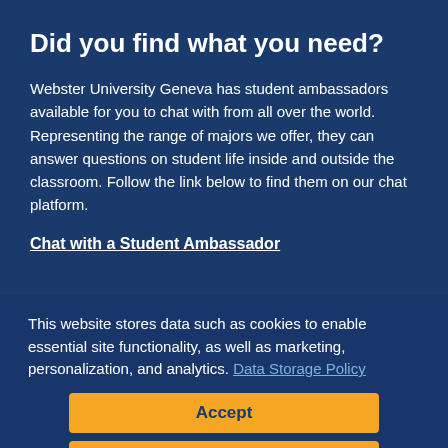Did you find what you need?
Webster University Geneva has student ambassadors available for you to chat with from all over the world. Representing the range of majors we offer, they can answer questions on student life inside and outside the classroom. Follow the link below to find them on our chat platform.
Chat with a Student Ambassador
This website stores data such as cookies to enable essential site functionality, as well as marketing, personalization, and analytics. Data Storage Policy
Accept
Deny